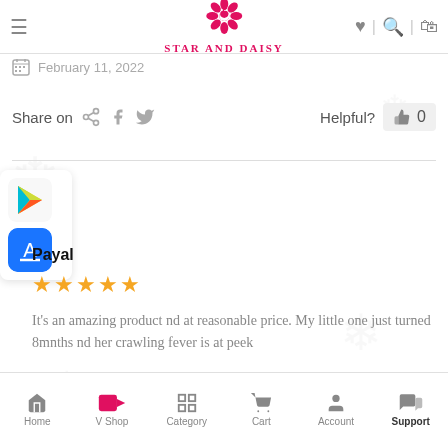StarAndDaisy
February 11, 2022
Share on   Helpful? 0
Payal
★★★★★
It's an amazing product nd at reasonable price. My little one just turned 8mnths nd her crawling fever is at peek
Home  V Shop  Category  Cart  Account  Support